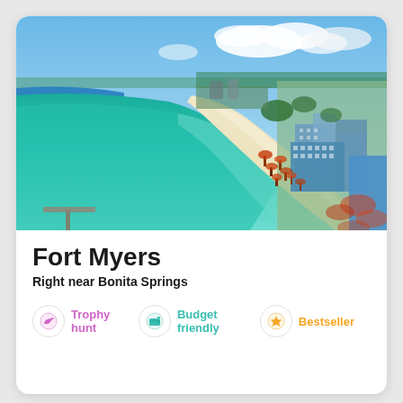[Figure (photo): Aerial view of Fort Myers Beach, Florida, showing turquoise water with numerous boats anchored, a long white sandy beach crowded with umbrellas and beachgoers, and a developed shoreline with hotels and palm trees under a blue sky with clouds.]
Fort Myers
Right near Bonita Springs
Trophy hunt   Budget friendly   Bestseller